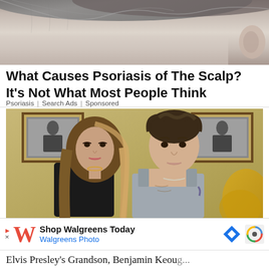[Figure (photo): Close-up photo of a person's neck and scalp area showing skin texture, shot from behind/side]
What Causes Psoriasis of The Scalp? It's Not What Most People Think
Psoriasis | Search Ads | Sponsored
[Figure (photo): Photo of two young people, a woman with long brown hair and a young man in a grey tank top, sitting together in a room with framed black and white photos on the wall behind them]
[Figure (infographic): Walgreens advertisement banner: Shop Walgreens Today - Walgreens Photo, with Walgreens W logo in red and navigation/recaptcha icons]
Elvis Presley's Grandson, Benjamin Keou...